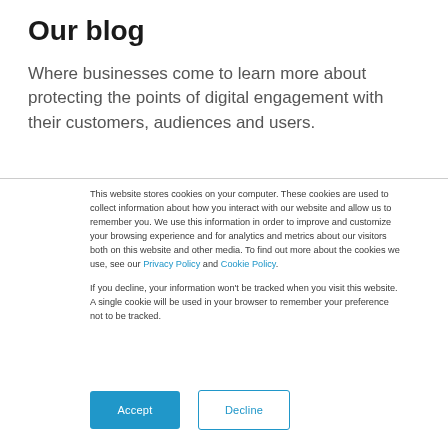Our blog
Where businesses come to learn more about protecting the points of digital engagement with their customers, audiences and users.
This website stores cookies on your computer. These cookies are used to collect information about how you interact with our website and allow us to remember you. We use this information in order to improve and customize your browsing experience and for analytics and metrics about our visitors both on this website and other media. To find out more about the cookies we use, see our Privacy Policy and Cookie Policy.
If you decline, your information won’t be tracked when you visit this website. A single cookie will be used in your browser to remember your preference not to be tracked.